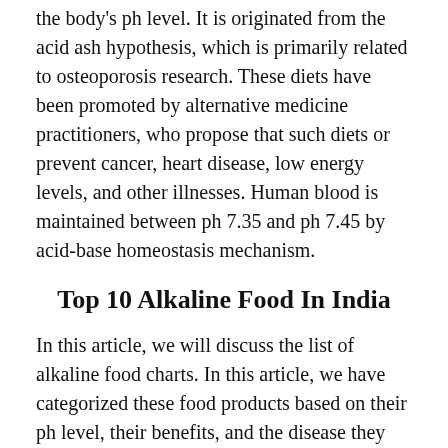the body's ph level. It is originated from the acid ash hypothesis, which is primarily related to osteoporosis research. These diets have been promoted by alternative medicine practitioners, who propose that such diets or prevent cancer, heart disease, low energy levels, and other illnesses. Human blood is maintained between ph 7.35 and ph 7.45 by acid-base homeostasis mechanism.
Top 10 Alkaline Food In India
In this article, we will discuss the list of alkaline food charts. In this article, we have categorized these food products based on their ph level, their benefits, and the disease they fight for. In this, we will discuss what is an alkaline food and how it works? Alkaline food is so important to bring about a balance. We should have a balanced meal with a good mix of everything, rather than restricting ourselves from having what contains